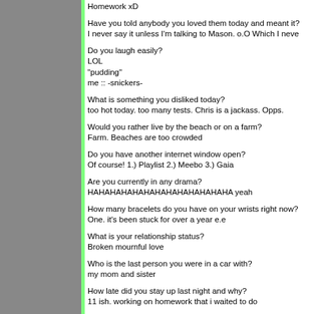Homework xD
Have you told anybody you loved them today and meant it?
I never say it unless I'm talking to Mason. o.O Which I neve
Do you laugh easily?
LOL
"pudding"
me :: -snickers-
What is something you disliked today?
too hot today. too many tests. Chris is a jackass. Opps.
Would you rather live by the beach or on a farm?
Farm. Beaches are too crowded
Do you have another internet window open?
Of course! 1.) Playlist 2.) Meebo 3.) Gaia
Are you currently in any drama?
HAHAHAHAHAHAHAHAHAHAHAHA yeah
How many bracelets do you have on your wrists right now?
One. it's been stuck for over a year e.e
What is your relationship status?
Broken mournful love
Who is the last person you were in a car with?
my mom and sister
How late did you stay up last night and why?
11 ish. working on homework that i waited to do
At the moment, are you ticked off at someone?
HAHAHAHAHAHAHA chris o3o
Is there a girl that knows everything or mostly everything al